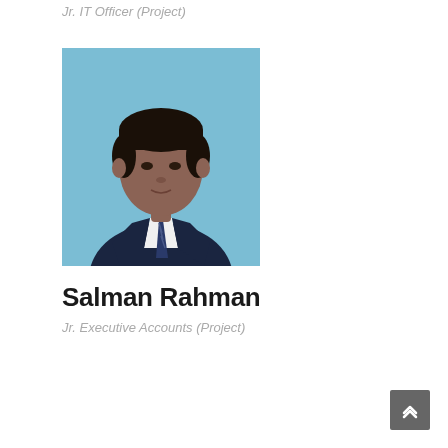Jr. IT Officer (Project)
[Figure (photo): Professional headshot of Salman Rahman wearing a dark suit and striped tie against a light blue background]
Salman Rahman
Jr. Executive Accounts (Project)